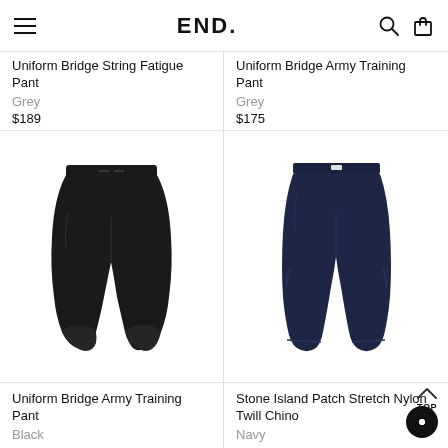END.
Uniform Bridge String Fatigue Pant
Grey
$189
Uniform Bridge Army Training Pant
Grey
$175
[Figure (photo): Black jogger/sweatpant with elastic waist and cuffed ankles on white background]
[Figure (photo): Dark navy straight-leg chino pant on white background]
Uniform Bridge Army Training Pant
Black
Stone Island Patch Stretch Nylon Twill Chino
Navy